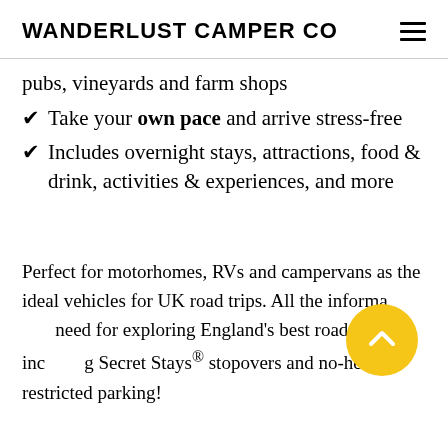WANDERLUST CAMPER CO
pubs, vineyards and farm shops
Take your own pace and arrive stress-free
Includes overnight stays, attractions, food & drink, activities & experiences, and more
Perfect for motorhomes, RVs and campervans as the ideal vehicles for UK road trips. All the information you need for exploring England's best road trips, including Secret Stays® stopovers and no-height restricted parking!